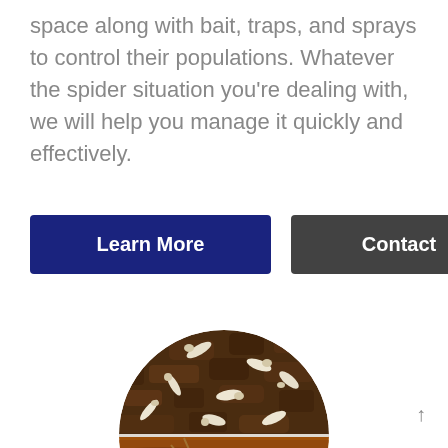space along with bait, traps, and sprays to control their populations. Whatever the spider situation you’re dealing with, we will help you manage it quickly and effectively.
Learn More
Contact
[Figure (photo): Circular cropped photo showing termites crawling in soil/dirt, split into two scenes: top half shows white termites on dark brown soil, bottom half shows a close-up of a termite on wood.]